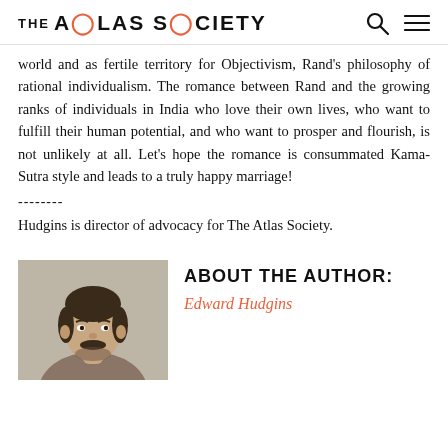THE ATLAS SOCIETY
world and as fertile territory for Objectivism, Rand's philosophy of rational individualism. The romance between Rand and the growing ranks of individuals in India who love their own lives, who want to fulfill their human potential, and who want to prosper and flourish, is not unlikely at all. Let's hope the romance is consummated Kama-Sutra style and leads to a truly happy marriage!
--------
Hudgins is director of advocacy for The Atlas Society.
[Figure (photo): Portrait photo of Edward Hudgins, a man with dark hair and a mustache/beard]
ABOUT THE AUTHOR:
Edward Hudgins